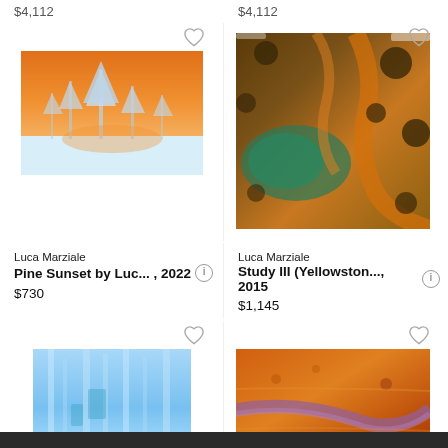$4,112
$4,112
[Figure (photo): Winter pine trees covered in snow against an orange sunset sky]
[Figure (photo): Aerial view of Yellowstone hot springs with orange and teal mineral deposits]
Luca Marziale
Pine Sunset by Luc... , 2022
$730
Luca Marziale
Study III (Yellowston..., 2015
$1,145
[Figure (photo): Blue glacier ice formations]
[Figure (photo): Aerial view of Yellowstone-area orange and purple mineral hot spring]